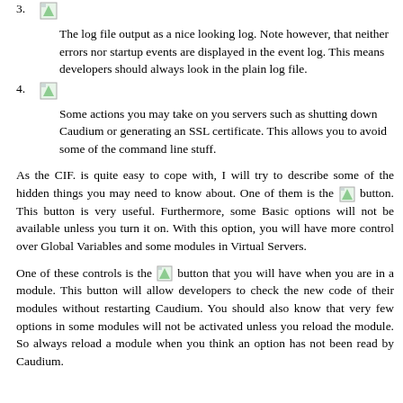3. [icon] The log file output as a nice looking log. Note however, that neither errors nor startup events are displayed in the event log. This means developers should always look in the plain log file.
4. [icon] Some actions you may take on you servers such as shutting down Caudium or generating an SSL certificate. This allows you to avoid some of the command line stuff.
As the CIF. is quite easy to cope with, I will try to describe some of the hidden things you may need to know about. One of them is the [icon] button. This button is very useful. Furthermore, some Basic options will not be available unless you turn it on. With this option, you will have more control over Global Variables and some modules in Virtual Servers.
One of these controls is the [icon] button that you will have when you are in a module. This button will allow developers to check the new code of their modules without restarting Caudium. You should also know that very few options in some modules will not be activated unless you reload the module. So always reload a module when you think an option has not been read by Caudium.